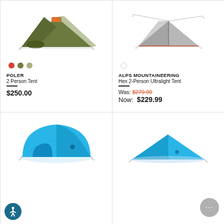[Figure (photo): Poler 2 Person Tent in green camo with orange accent, pitched outdoors]
POLER
2 Person Tent
$250.00
[Figure (photo): Alps Mountaineering Hex 2-Person Ultralight Tent, grey/mesh design, pitched outdoors]
ALPS MOUNTAINEERING
Hex 2-Person Ultralight Tent
Was: $279.99
Now: $229.99
[Figure (photo): Black Diamond blue dome tent, pitched outdoors]
[Figure (photo): Black Diamond blue ultralight tent, pitched outdoors]